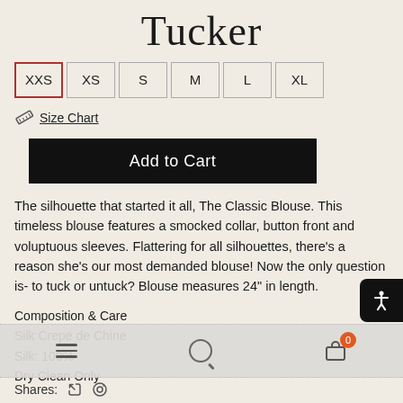Tucker
XXS  XS  S  M  L  XL
Size Chart
Add to Cart
The silhouette that started it all, The Classic Blouse. This timeless blouse features a smocked collar, button front and voluptuous sleeves. Flattering for all silhouettes, there's a reason she's our most demanded blouse! Now the only question is- to tuck or untuck? Blouse measures 24" in length.
Composition & Care
Silk Crepe de Chine
Silk: 100%
Dry Clean Only
Shares: